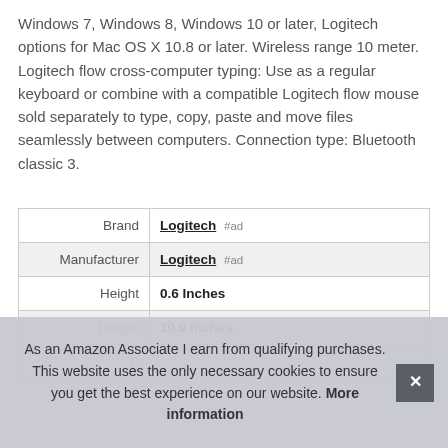Windows 7, Windows 8, Windows 10 or later, Logitech options for Mac OS X 10.8 or later. Wireless range 10 meter. Logitech flow cross-computer typing: Use as a regular keyboard or combine with a compatible Logitech flow mouse sold separately to type, copy, paste and move files seamlessly between computers. Connection type: Bluetooth classic 3.
| Brand | Logitech #ad |
| Manufacturer | Logitech #ad |
| Height | 0.6 Inches |
| Length | 10.9 Inches |
| P |  |
As an Amazon Associate I earn from qualifying purchases. This website uses the only necessary cookies to ensure you get the best experience on our website. More information